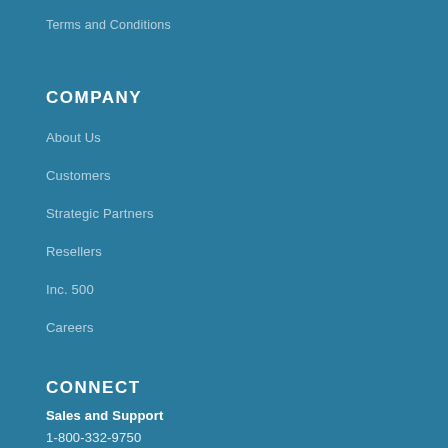Terms and Conditions
COMPANY
About Us
Customers
Strategic Partners
Resellers
Inc. 500
Careers
CONNECT
Sales and Support
1-800-332-9750